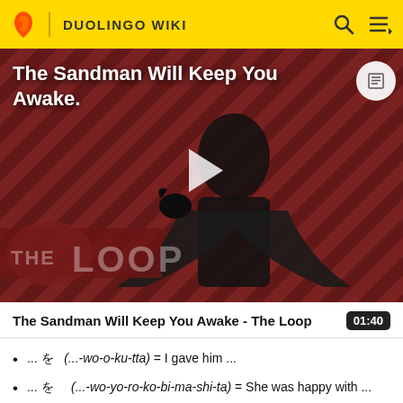DUOLINGO WIKI
[Figure (screenshot): Video thumbnail for 'The Sandman Will Keep You Awake - The Loop' showing a figure in black against a diagonal striped red/dark background with THE LOOP text and a play button overlay]
The Sandman Will Keep You Awake - The Loop  01:40
... を (...-wo-o-ku-tta) = I gave him ...
... を (...-wo-yo-ro-ko-bi-ma-shi-ta) = She was happy with ...